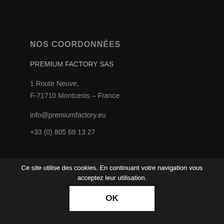NOS COORDONNÉES
PREMIUM FACTORY SAS
1 Route Neuve,
F-71710 Montcenis – France
info@premiumfactory.eu
+33 (0) 805 69 13 27
FACTORY SAS
Mentions légales   Politique
Ce site utilise des cookies. En continuant votre navigation vous acceptez leur utilisation.
OK